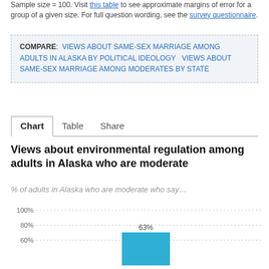Sample size = 100. Visit this table to see approximate margins of error for a group of a given size. For full question wording, see the survey questionnaire.
COMPARE: VIEWS ABOUT SAME-SEX MARRIAGE AMONG ADULTS IN ALASKA BY POLITICAL IDEOLOGY  VIEWS ABOUT SAME-SEX MARRIAGE AMONG MODERATES BY STATE
Chart  Table  Share
Views about environmental regulation among adults in Alaska who are moderate
% of adults in Alaska who are moderate who say…
[Figure (bar-chart): Views about environmental regulation among adults in Alaska who are moderate]